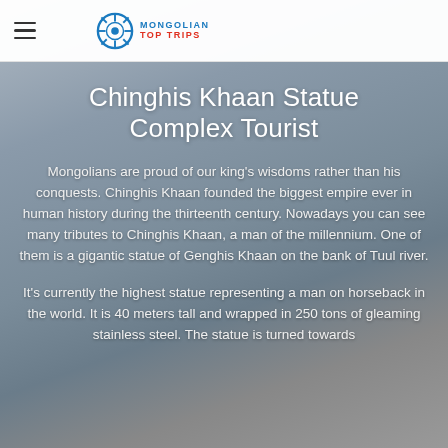Mongolian Top Trips (logo/navigation header)
Chinghis Khaan Statue Complex Tourist
Mongolians are proud of our king's wisdoms rather than his conquests. Chinghis Khaan founded the biggest empire ever in human history during the thirteenth century. Nowadays you can see many tributes to Chinghis Khaan, a man of the millennium. One of them is a gigantic statue of Genghis Khaan on the bank of Tuul river.
It's currently the highest statue representing a man on horseback in the world. It is 40 meters tall and wrapped in 250 tons of gleaming stainless steel. The statue is turned towards